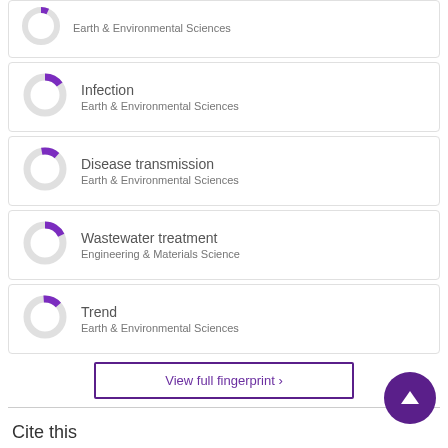[Figure (donut-chart): Partial donut chart with small purple filled segment, label: Earth & Environmental Sciences (top partial card)]
[Figure (donut-chart): Donut chart with ~15% purple segment for Infection, Earth & Environmental Sciences]
[Figure (donut-chart): Donut chart with ~12% purple segment for Disease transmission, Earth & Environmental Sciences]
[Figure (donut-chart): Donut chart with ~18% purple segment for Wastewater treatment, Engineering & Materials Science]
[Figure (donut-chart): Donut chart with ~14% purple segment for Trend, Earth & Environmental Sciences]
View full fingerprint >
Cite this
APA   Standard   Harvard   Vancouver